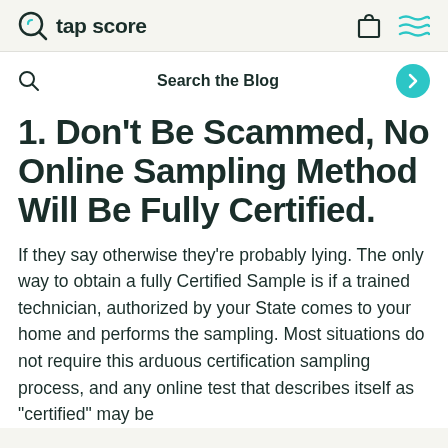tap score
Search the Blog
1. Don't Be Scammed, No Online Sampling Method Will Be Fully Certified.
If they say otherwise they're probably lying. The only way to obtain a fully Certified Sample is if a trained technician, authorized by your State comes to your home and performs the sampling. Most situations do not require this arduous certification sampling process, and any online test that describes itself as "certified" may be